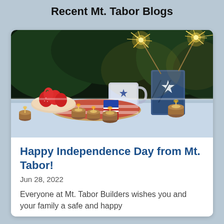Recent Mt. Tabor Blogs
[Figure (photo): 4th of July themed table setup outdoors at night with sparklers, strawberries, candles, and patriotic decorations]
Happy Independence Day from Mt. Tabor!
Jun 28, 2022
Everyone at Mt. Tabor Builders wishes you and your family a safe and happy